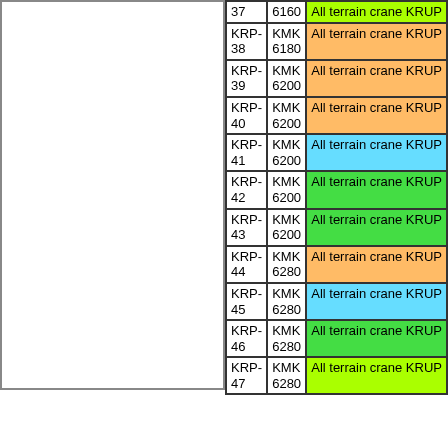| KRP-# | KMK # | Description |
| --- | --- | --- |
| 37 | 6160 | All terrain crane KRUP |
| KRP-38 | KMK 6180 | All terrain crane KRUP |
| KRP-39 | KMK 6200 | All terrain crane KRUP |
| KRP-40 | KMK 6200 | All terrain crane KRUP |
| KRP-41 | KMK 6200 | All terrain crane KRUP |
| KRP-42 | KMK 6200 | All terrain crane KRUP |
| KRP-43 | KMK 6200 | All terrain crane KRUP |
| KRP-44 | KMK 6280 | All terrain crane KRUP |
| KRP-45 | KMK 6280 | All terrain crane KRUP |
| KRP-46 | KMK 6280 | All terrain crane KRUP |
| KRP-47 | KMK 6280 | All terrain crane KRUP |